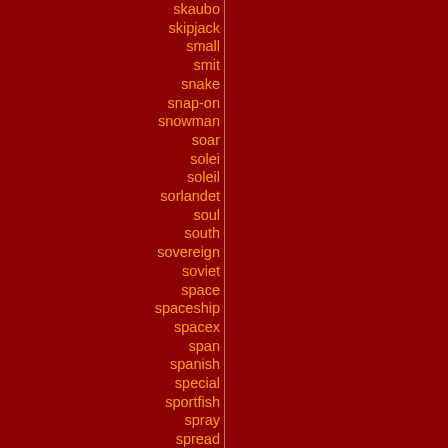skaubo
skipjack
small
smit
snake
snap-on
snowman
soar
solei
soleil
sorlandet
soul
south
sovereign
soviet
space
spaceship
spacex
span
spanish
special
sportfish
spray
spread
spring